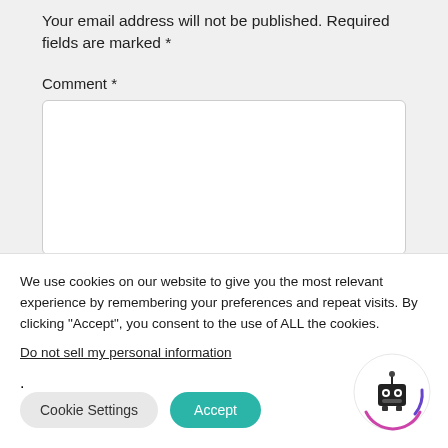Your email address will not be published. Required fields are marked *
Comment *
[Figure (screenshot): Empty comment text area input box]
We use cookies on our website to give you the most relevant experience by remembering your preferences and repeat visits. By clicking “Accept”, you consent to the use of ALL the cookies.
Do not sell my personal information.
[Figure (illustration): Robot icon with circular purple/pink arc decoration]
Cookie Settings
Accept